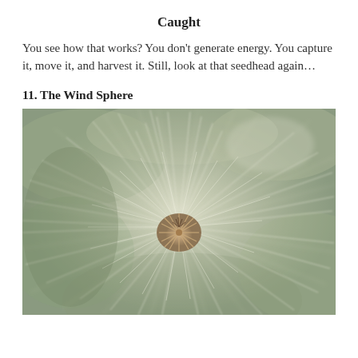Caught
You see how that works? You don’t generate energy. You capture it, move it, and harvest it. Still, look at that seedhead again…
11. The Wind Sphere
[Figure (photo): Close-up macro photograph of a dandelion seedhead (clock), showing fine white feathery pappus filaments radiating outward from a central brownish-golden seed cluster, with a soft blurred green and grey background.]